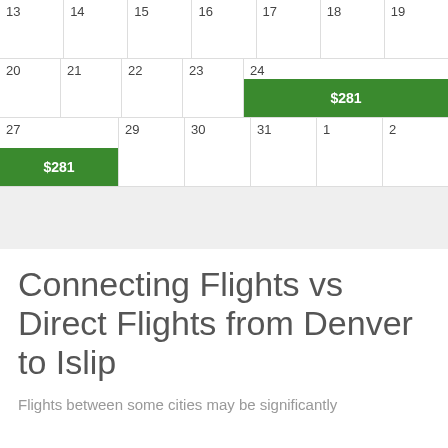| 13 | 14 | 15 | 16 | 17 | 18 | 19 |
| --- | --- | --- | --- | --- | --- | --- |
| 13 | 14 | 15 | 16 | 17 | 18 | 19 |
| 20 | 21 | 22 | 23 | 24 $281 | 25 | 26 |
| 27 $281 | 28 | 29 | 30 | 31 | 1 | 2 |
Connecting Flights vs Direct Flights from Denver to Islip
Flights between some cities may be significantly